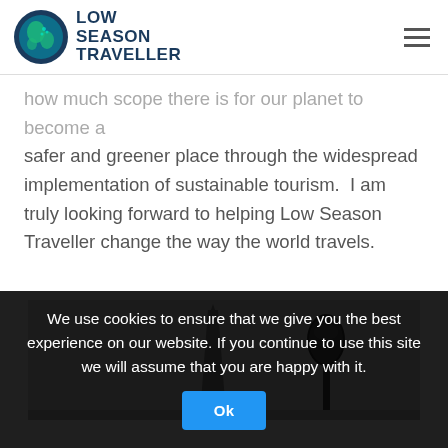[Figure (logo): Low Season Traveller logo with globe icon and text]
how much scope there is for our planet to become a safer and greener place through the widespread implementation of sustainable tourism.  I am truly looking forward to helping Low Season Traveller change the way the world travels.
[Figure (photo): Black and white photo of an obelisk and a street lamp against a grey sky]
We use cookies to ensure that we give you the best experience on our website. If you continue to use this site we will assume that you are happy with it.